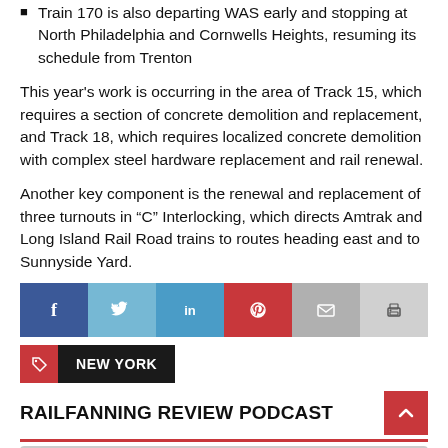Train 170 is also departing WAS early and stopping at North Philadelphia and Cornwells Heights, resuming its schedule from Trenton
This year's work is occurring in the area of Track 15, which requires a section of concrete demolition and replacement, and Track 18, which requires localized concrete demolition with complex steel hardware replacement and rail renewal.
Another key component is the renewal and replacement of three turnouts in “C” Interlocking, which directs Amtrak and Long Island Rail Road trains to routes heading east and to Sunnyside Yard.
[Figure (infographic): Social media share buttons: Facebook (blue), Twitter (light blue), LinkedIn (blue), Pinterest (red), Email (grey), Print (light grey)]
NEW YORK
RAILFANNING REVIEW PODCAST